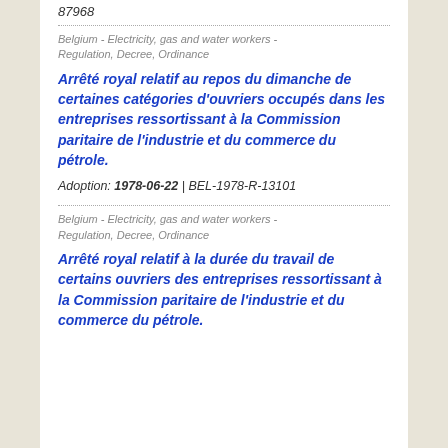87968
Belgium - Electricity, gas and water workers - Regulation, Decree, Ordinance
Arrêté royal relatif au repos du dimanche de certaines catégories d'ouvriers occupés dans les entreprises ressortissant à la Commission paritaire de l'industrie et du commerce du pétrole.
Adoption: 1978-06-22 | BEL-1978-R-13101
Belgium - Electricity, gas and water workers - Regulation, Decree, Ordinance
Arrêté royal relatif à la durée du travail de certains ouvriers des entreprises ressortissant à la Commission paritaire de l'industrie et du commerce du pétrole.